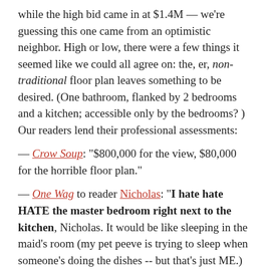while the high bid came in at $1.4M — we're guessing this one came from an optimistic neighbor. High or low, there were a few things it seemed like we could all agree on: the, er, non-traditional floor plan leaves something to be desired. (One bathroom, flanked by 2 bedrooms and a kitchen; accessible only by the bedrooms? ) Our readers lend their professional assessments:
— Crow Soup: "$800,000 for the view, $80,000 for the horrible floor plan."
— One Wag to reader Nicholas: "I hate hate HATE the master bedroom right next to the kitchen, Nicholas. It would be like sleeping in the maid's room (my pet peeve is trying to sleep when someone's doing the dishes -- but that's just ME.) Really sets my tith on edge, to quote Ricky Ricardo."